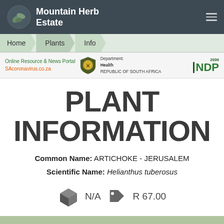Mountain Herb Estate
[Figure (screenshot): Navigation bar with Home, Plants, Info tabs on a light green background]
[Figure (infographic): Banner strip with SAcoronavirus.co.za Online Resource & News Portal text (green), Department of Health Republic of South Africa shield logo, and NDP 2030 logo]
PLANT INFORMATION
Common Name: ARTICHOKE - JERUSALEM
Scientific Name: Helianthus tuberosus
N/A    R  67.00